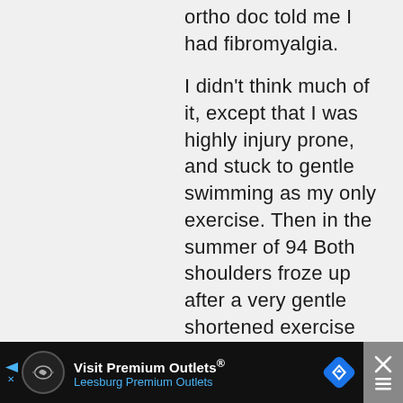ortho doc told me I had fibromyalgia.

I didn't think much of it, except that I was highly injury prone, and stuck to gentle swimming as my only exercise. Then in the summer of 94 Both shoulders froze up after a very gentle shortened exercise period. Was just trying to wait it out, but one morning in February
[Figure (other): Advertisement bar at bottom: Visit Premium Outlets® Leesburg Premium Outlets, with navigation icon and close button]